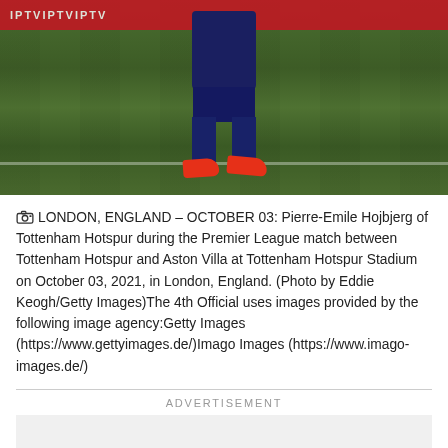[Figure (photo): A soccer/football player's legs and torso visible on a green grass pitch, wearing dark navy blue jersey and shorts, red boots/cleats. A red advertising banner is visible at the top. The player appears to be Pierre-Emile Hojbjerg of Tottenham Hotspur.]
LONDON, ENGLAND – OCTOBER 03: Pierre-Emile Hojbjerg of Tottenham Hotspur during the Premier League match between Tottenham Hotspur and Aston Villa at Tottenham Hotspur Stadium on October 03, 2021, in London, England. (Photo by Eddie Keogh/Getty Images)The 4th Official uses images provided by the following image agency:Getty Images (https://www.gettyimages.de/)Imago Images (https://www.imago-images.de/)
ADVERTISEMENT